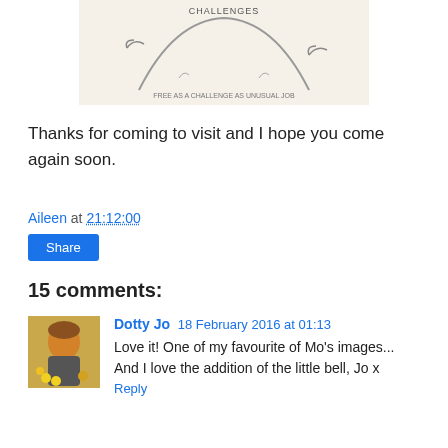[Figure (illustration): A partial image showing text 'CHALLENGES' at top and a decorative arch/floral design with text below]
Thanks for coming to visit and I hope you come again soon.
Aileen at 21:12:00
Share
15 comments:
Dotty Jo  18 February 2016 at 01:13
Love it! One of my favourite of Mo's images... And I love the addition of the little bell, Jo x